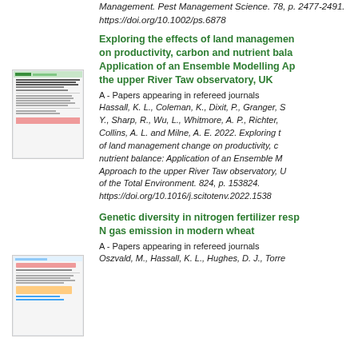Management. Pest Management Science. 78, p. 2477-2491. https://doi.org/10.1002/ps.6878
[Figure (screenshot): Thumbnail of a journal article page about land management effects on productivity, carbon and nutrient balance]
Exploring the effects of land management on productivity, carbon and nutrient balance: Application of an Ensemble Modelling Approach to the upper River Taw observatory, UK
A - Papers appearing in refereed journals
Hassall, K. L., Coleman, K., Dixit, P., Granger, S. Y., Sharp, R., Wu, L., Whitmore, A. P., Richter, Collins, A. L. and Milne, A. E. 2022. Exploring the effects of land management change on productivity, carbon and nutrient balance: Application of an Ensemble Modelling Approach to the upper River Taw observatory, UK. Science of the Total Environment. 824, p. 153824. https://doi.org/10.1016/j.scitotenv.2022.1538
[Figure (screenshot): Thumbnail of a journal article page about genetic diversity in nitrogen fertilizer response]
Genetic diversity in nitrogen fertilizer response and N gas emission in modern wheat
A - Papers appearing in refereed journals
Oszvald, M., Hassall, K. L., Hughes, D. J., Torres